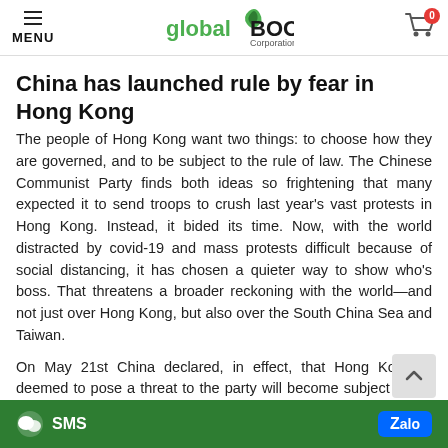MENU | global BOOK Corporation | Cart 0
China has launched rule by fear in Hong Kong
The people of Hong Kong want two things: to choose how they are governed, and to be subject to the rule of law. The Chinese Communist Party finds both ideas so frightening that many expected it to send troops to crush last year's vast protests in Hong Kong. Instead, it bided its time. Now, with the world distracted by covid-19 and mass protests difficult because of social distancing, it has chosen a quieter way to show who's boss. That threatens a broader reckoning with the world—and not just over Hong Kong, but also over the South China Sea and Taiwan.
On May 21st China declared, in effect, that Hong Kongers deemed to pose a threat to the party will become subject to the party's wrath. A new security law, written in Beijing, will create still-to-be defined crimes of subversion and secession, terms used elsewhere in China to lock up
SMS | Zalo